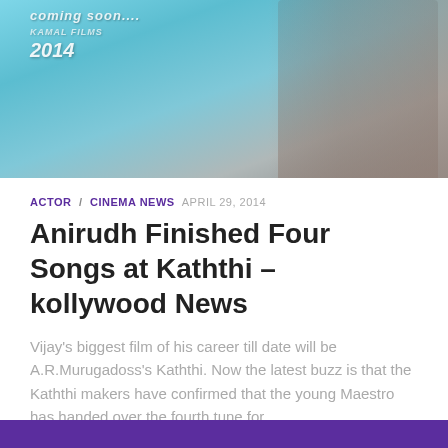[Figure (photo): Movie promotional poster/banner showing 'coming soon... 2014' text with a figure of a person in a jacket, set against a blue-grey background.]
ACTOR / CINEMA NEWS  APRIL 29, 2014
Anirudh Finished Four Songs at Kaththi – kollywood News
Vijay's biggest film of his career till date will be A.R.Murugadoss's Kaththi. Now the latest buzz is that the Kaththi makers have confirmed that the young Maestro has handed over the fourth tune for...